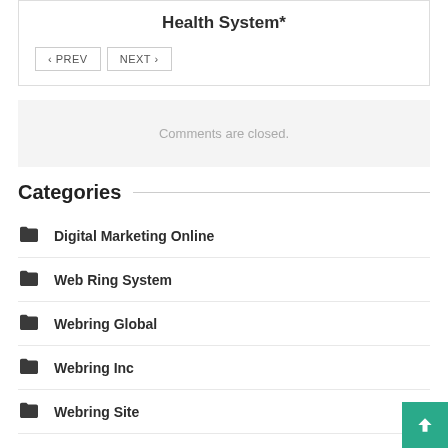Health System*
‹ PREV   NEXT ›
Comments are closed.
Categories
Digital Marketing Online
Web Ring System
Webring Global
Webring Inc
Webring Site